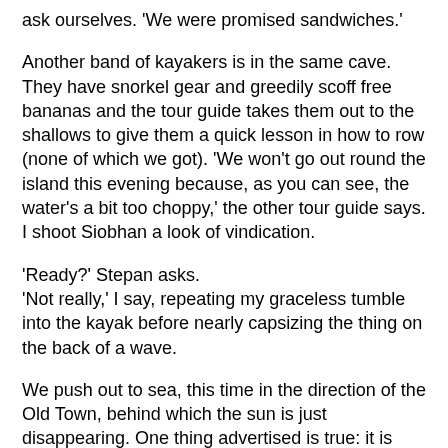ask ourselves. 'We were promised sandwiches.'
Another band of kayakers is in the same cave. They have snorkel gear and greedily scoff free bananas and the tour guide takes them out to the shallows to give them a quick lesson in how to row (none of which we got). 'We won't go out round the island this evening because, as you can see, the water's a bit too choppy,' the other tour guide says. I shoot Siobhan a look of vindication.
'Ready?' Stepan asks.
'Not really,' I say, repeating my graceless tumble into the kayak before nearly capsizing the thing on the back of a wave.
We push out to sea, this time in the direction of the Old Town, behind which the sun is just disappearing. One thing advertised is true: it is indeed a sunset tour. As the waves blacken around us, the light splintering over Baroque silhouettes, I feel a growing camaraderie with Stepan. The waves roll higher beneath us, smashing on the rocks and blowing back, but this time we are going the right way.